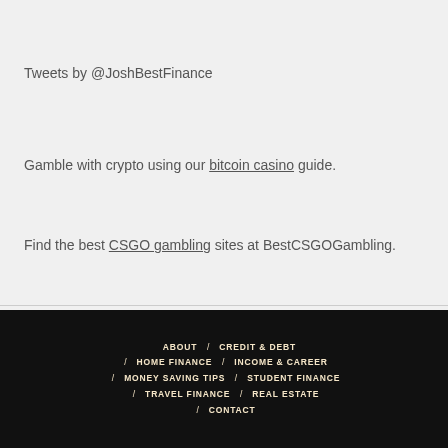Tweets by @JoshBestFinance
Gamble with crypto using our bitcoin casino guide.
Find the best CSGO gambling sites at BestCSGOGambling.
ABOUT / CREDIT & DEBT / HOME FINANCE / INCOME & CAREER / MONEY SAVING TIPS / STUDENT FINANCE / TRAVEL FINANCE / REAL ESTATE / CONTACT